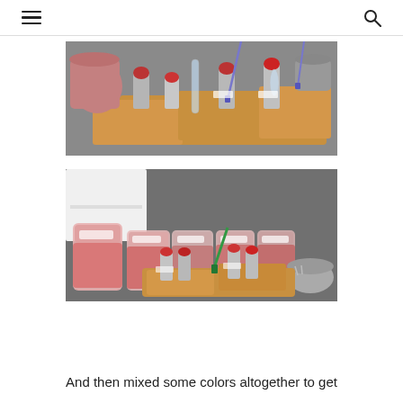☰  🔍
[Figure (photo): Laboratory bench with vials and glass tubes in wooden racks containing reddish-brown powder and liquids, along with pipettes and metal containers on a gray surface]
[Figure (photo): Laboratory setting showing plastic containers with pink/red-tinted liquids and labels, along with vials in wooden racks, pipettes including a green-tipped one, and a metal bowl on a dark surface, with white shelving unit in the background]
And then mixed some colors altogether to get